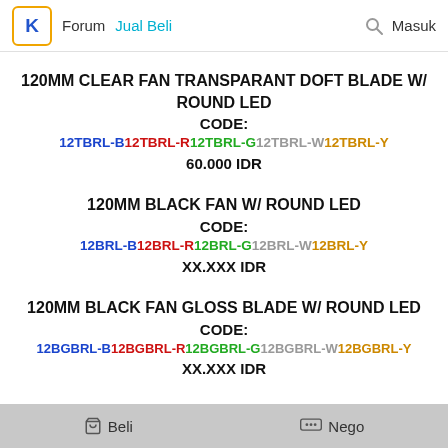K Forum Jual Beli   🔍 Masuk
120MM CLEAR FAN TRANSPARANT DOFT BLADE W/ ROUND LED
CODE:
12TBRL-B12TBRL-R12TBRL-G12TBRL-W12TBRL-Y
60.000 IDR
120MM BLACK FAN W/ ROUND LED
CODE:
12BRL-B12BRL-R12BRL-G12BRL-W12BRL-Y
XX.XXX IDR
120MM BLACK FAN GLOSS BLADE W/ ROUND LED
CODE:
12BGBRL-B12BGBRL-R12BGBRL-G12BGBRL-W12BGBRL-Y
XX.XXX IDR
🛒 Beli   💬 Nego